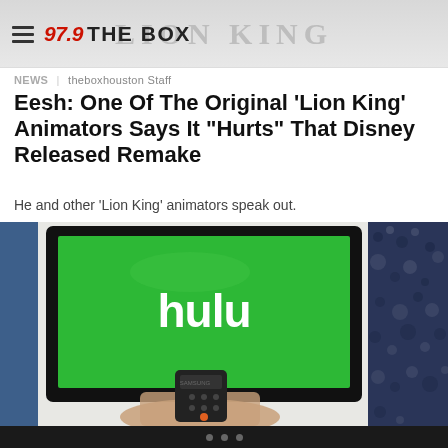97.9 THE BOX
NEWS | theboxhouston Staff
Eesh: One Of The Original ‘Lion King’ Animators Says It “Hurts” That Disney Released Remake
He and other 'Lion King' animators speak out.
[Figure (photo): A person holding a Samsung TV remote pointing at a flat screen TV displaying the Hulu logo on a green screen background, with a patterned fabric visible on the right side.]